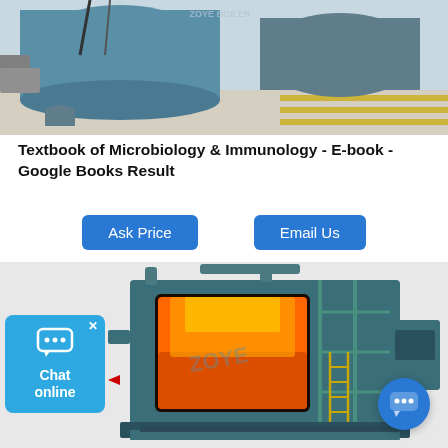[Figure (photo): Industrial boiler equipment in a factory setting, showing large blue cylindrical boilers with pipes and yellow-striped floor markings. ZOYE BOILER logo visible.]
Textbook of Microbiology & Immunology - E-book - Google Books Result
[Figure (illustration): Ask Price button - blue rounded rectangle button]
[Figure (illustration): Email Us button - blue rounded rectangle button]
[Figure (illustration): 3D cutaway illustration of a large industrial boiler showing internal combustion chamber with orange flames, teal/dark green exterior with yellow scaffolding and piping. ZOYE watermark visible.]
[Figure (illustration): Chat online widget - blue square with chat icon and text 'Chat online']
[Figure (illustration): Blue circular chat bubble button at bottom right corner]